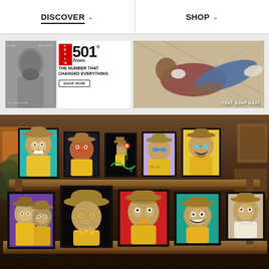DISCOVER  SHOP
[Figure (photo): Levi's 501 Jeans advertisement banner with black and white photo on left and text 'THE NUMBER THAT CHANGED EVERYTHING' with SHOP NOW button on right]
[Figure (photo): Levi's ad featuring ASAP Nast lounging in jeans with text 'FEAT. ASAP NAST']
[Figure (illustration): NFT digital art gallery showing multiple Bored Ape Yacht Club style NFT artworks displayed as framed prints on wooden shelves in a shop setting, featuring various cartoon apes wearing cowboy hats]